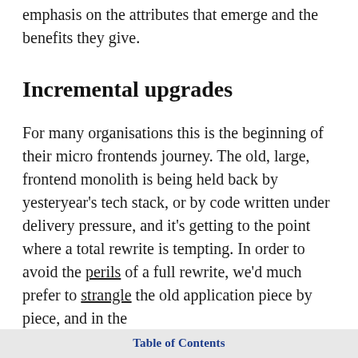emphasis on the attributes that emerge and the benefits they give.
Incremental upgrades
For many organisations this is the beginning of their micro frontends journey. The old, large, frontend monolith is being held back by yesteryear's tech stack, or by code written under delivery pressure, and it's getting to the point where a total rewrite is tempting. In order to avoid the perils of a full rewrite, we'd much prefer to strangle the old application piece by piece, and in the
Table of Contents